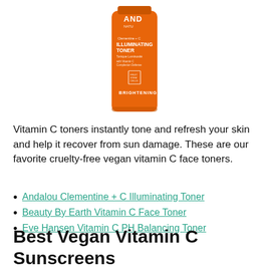[Figure (photo): Orange bottle of Andalou Naturals Clementine + C Illuminating Toner with BRIGHTENING label on a white background]
Vitamin C toners instantly tone and refresh your skin and help it recover from sun damage. These are our favorite cruelty-free vegan vitamin C face toners.
Andalou Clementine + C Illuminating Toner
Beauty By Earth Vitamin C Face Toner
Eve Hansen Vitamin C PH Balancing Toner
Best Vegan Vitamin C Sunscreens